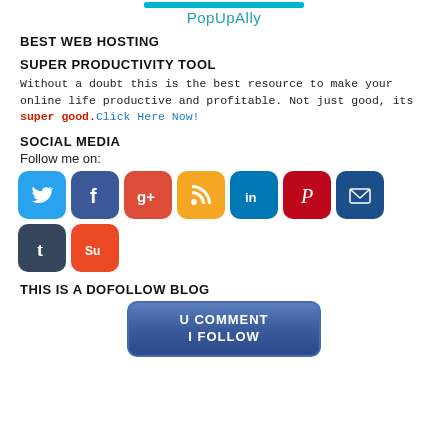PopUpAlly
BEST WEB HOSTING
SUPER PRODUCTIVITY TOOL
Without a doubt this is the best resource to make your online life productive and profitable. Not just good, its super good.Click Here Now!
SOCIAL MEDIA
Follow me on:
[Figure (infographic): Row of 9 rounded-square social media icon buttons: Twitter (blue bird), Facebook (blue f), Google+ (red g+), RSS (orange wifi), LinkedIn (blue in), Pinterest (red P), Email (dark blue envelope), Tumblr (dark t), StumbleUpon (orange su)]
THIS IS A DOFOLLOW BLOG
[Figure (infographic): Blue rounded badge button reading 'U COMMENT / I FOLLOW' in white bold text]